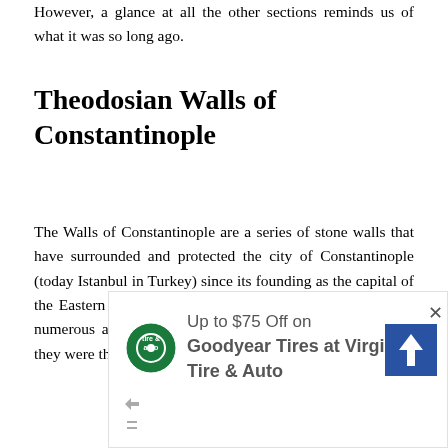However, a glance at all the other sections reminds us of what it was so long ago.
Theodosian Walls of Constantinople
The Walls of Constantinople are a series of stone walls that have surrounded and protected the city of Constantinople (today Istanbul in Turkey) since its founding as the capital of the Eastern Roman Empire by Constantine the Great. With numerous additions and modifications during their history, they were th... last great fortifications of a city and...
[Figure (screenshot): Advertisement overlay for Goodyear Tires at Virginia Tire & Auto, showing logo, text 'Up to $75 Off on Goodyear Tires at Virginia Tire & Auto', a blue navigation arrow icon, and close/ad controls at bottom left. A close button 'x' appears in top right corner.]